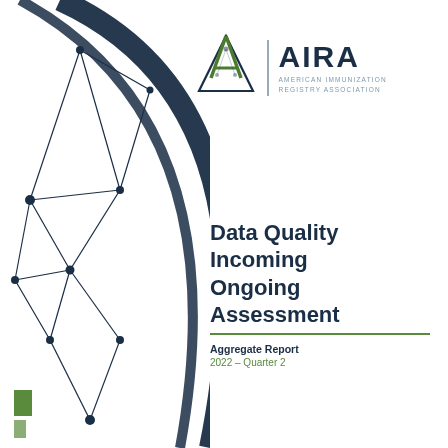[Figure (logo): AIRA American Immunization Registry Association logo with triangle/network icon and vertical divider]
[Figure (illustration): Decorative abstract network/node graphic on left side in dark navy blue with connected lines and circles, plus large sweeping arc lines]
Data Quality Incoming Ongoing Assessment
Aggregate Report
2022 – Quarter 2